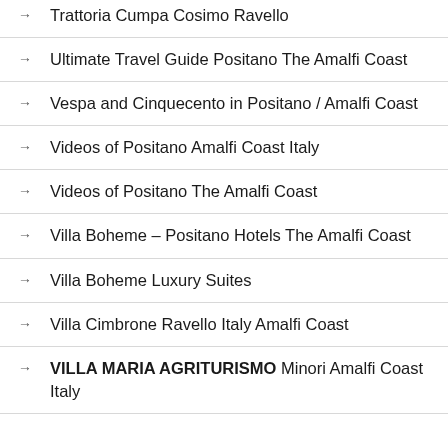Trattoria Cumpa Cosimo Ravello
Ultimate Travel Guide Positano The Amalfi Coast
Vespa and Cinquecento in Positano / Amalfi Coast
Videos of Positano Amalfi Coast Italy
Videos of Positano The Amalfi Coast
Villa Boheme – Positano Hotels The Amalfi Coast
Villa Boheme Luxury Suites
Villa Cimbrone Ravello Italy Amalfi Coast
VILLA MARIA AGRITURISMO Minori Amalfi Coast Italy